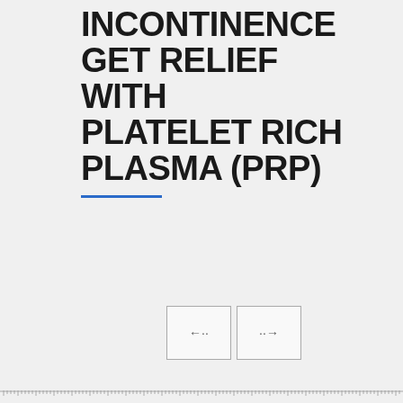INCONTINENCE GET RELIEF WITH PLATELET RICH PLASMA (PRP)
[Figure (other): Navigation buttons with left and right arrows]
[Figure (other): Ruler/measurement bar divider]
AUGUST 19, 2019 · HORMONE THERAPY · 0 COMMENT
0
[Figure (photo): Photo of a smiling woman holding hands with someone outdoors]